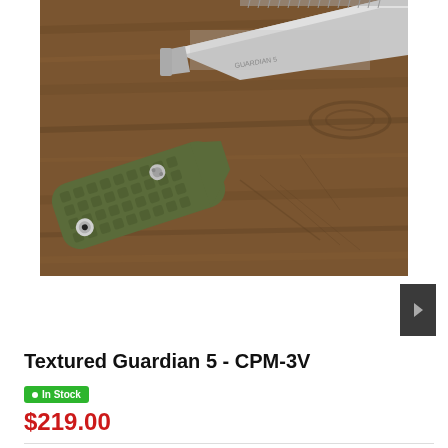[Figure (photo): A fixed-blade knife with an olive green textured polymer handle and a silver/stone-washed cleaver-style blade, laid diagonally on a weathered brown wood surface. The handle has a waffle/checkered texture pattern and two visible screw fasteners.]
Textured Guardian 5 - CPM-3V
In Stock
$219.00
Guardian 5 - CPM-3V